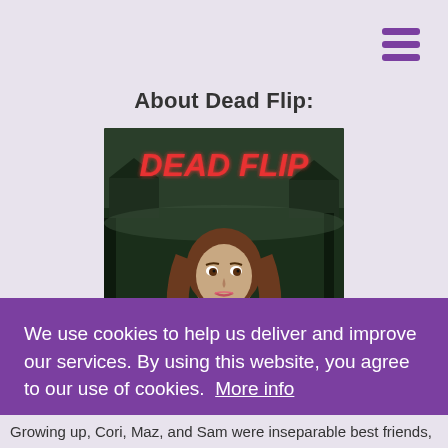[Figure (illustration): Hamburger menu icon with three purple horizontal bars in top right corner]
About Dead Flip:
[Figure (illustration): Book cover for 'Dead Flip' showing red neon-style title text over a dark forest background with a young woman with long brown hair in the foreground]
We use cookies to help us deliver and improve our services. By using this website, you agree to our use of cookies.  More info
I agree!
Growing up, Cori, Maz, and Sam were inseparable best friends,